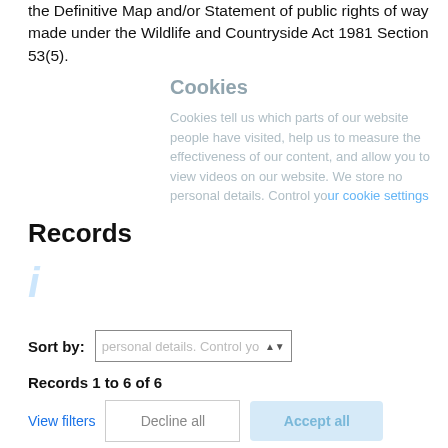the Definitive Map and/or Statement of public rights of way made under the Wildlife and Countryside Act 1981 Section 53(5).
Cookies
Cookies tell us which parts of our website people have visited, help us to measure the effectiveness of our content, and allow you to view videos on our website. We store no personal details. Control your cookie settings
Records
Sort by:
Records 1 to 6 of 6
View filters   Decline all   Accept all
Fritwell RB No 2 Modification Order 2019
Our reference:
02011
Applicant name(s):
Mr C Blomfield
Postcode(s):